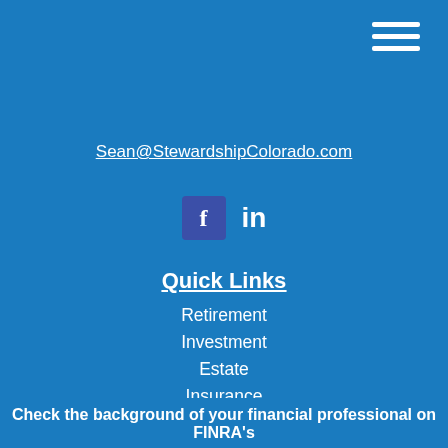[Figure (other): Hamburger menu icon with three white horizontal lines in top right corner]
Sean@StewardshipColorado.com
[Figure (other): Facebook icon (blue square with white f) and LinkedIn icon (white 'in' text) social media buttons]
Quick Links
Retirement
Investment
Estate
Insurance
Tax
Money
Lifestyle
All Articles
All Videos
All Calculators
All Presentations
Check the background of your financial professional on FINRA's